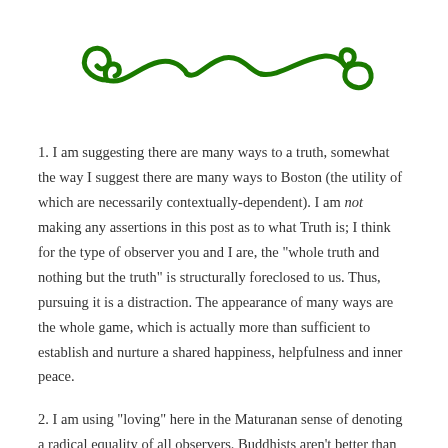[Figure (illustration): Decorative green scrollwork/flourish divider, a swirling vine-like ornamental line in dark green]
1. I am suggesting there are many ways to a truth, somewhat the way I suggest there are many ways to Boston (the utility of which are necessarily contextually-dependent). I am not making any assertions in this post as to what Truth is; I think for the type of observer you and I are, the "whole truth and nothing but the truth" is structurally foreclosed to us. Thus, pursuing it is a distraction. The appearance of many ways are the whole game, which is actually more than sufficient to establish and nurture a shared happiness, helpfulness and inner peace.
2. I am using "loving" here in the Maturanan sense of denoting a radical equality of all observers. Buddhists aren't better than Christians, spiders